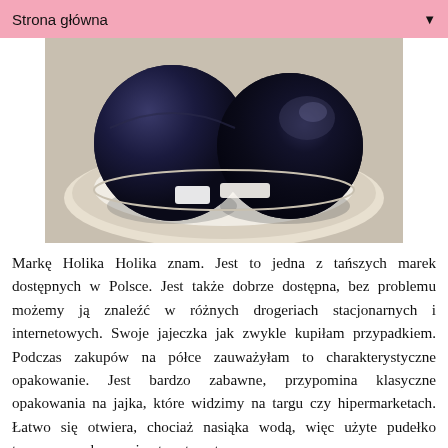Strona główna ▼
[Figure (photo): Two dark navy/black spherical objects (massage balls or Ben Wa balls) sitting in a white shell-like packaging holder on a light surface.]
Markę Holika Holika znam. Jest to jedna z tańszych marek dostępnych w Polsce. Jest także dobrze dostępna, bez problemu możemy ją znaleźć w różnych drogeriach stacjonarnych i internetowych. Swoje jajeczka jak zwykle kupiłam przypadkiem. Podczas zakupów na półce zauważyłam to charakterystyczne opakowanie. Jest bardzo zabawne, przypomina klasyczne opakowania na jajka, które widzimy na targu czy hipermarketach. Łatwo się otwiera, chociaż nasiąka wodą, więc użyte pudełko trzymam osobno a nie otwarta w tym